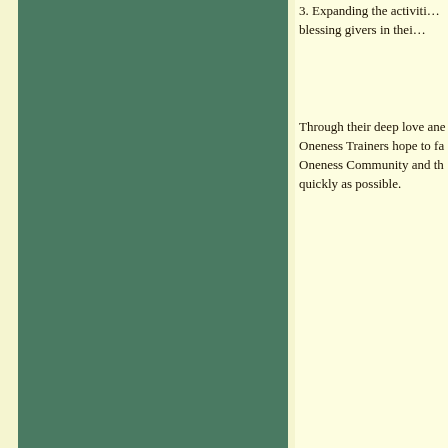3. Expanding the activiti… blessing givers in thei…
Through their deep love ane Oneness Trainers hope to fa Oneness Community and th quickly as possible.